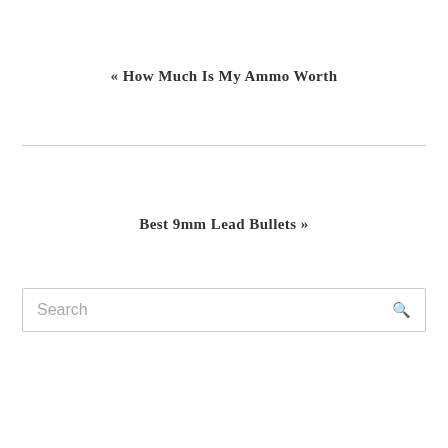« How Much Is My Ammo Worth
Best 9mm Lead Bullets »
Search